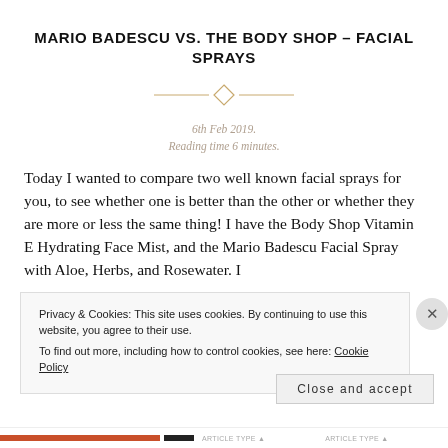MARIO BADESCU VS. THE BODY SHOP – FACIAL SPRAYS
6th Feb 2019.
Reading time 6 minutes.
Today I wanted to compare two well known facial sprays for you, to see whether one is better than the other or whether they are more or less the same thing! I have the Body Shop Vitamin E Hydrating Face Mist, and the Mario Badescu Facial Spray with Aloe, Herbs, and Rosewater. I
Privacy & Cookies: This site uses cookies. By continuing to use this website, you agree to their use.
To find out more, including how to control cookies, see here: Cookie Policy
Close and accept